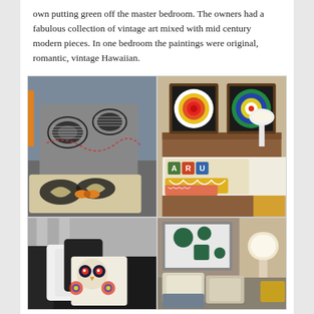own putting green off the master bedroom. The owners had a fabulous collection of vintage art mixed with mid century modern pieces. In one bedroom the paintings were original, romantic, vintage Hawaiian.
[Figure (photo): A 2x2 grid of interior design photos: top-left shows close-up of decorative patterned pillows in grey, black and white with leaf and geometric motifs; top-right shows a bedroom with mid-century modern furniture, colorful target/bullseye wall art, and scrabble-letter print pillows; bottom-left shows a dark sofa with decorative pillows featuring owl/floral patterns; bottom-right shows a bedroom with a lamp, framed geometric art, and neutral pillows.]